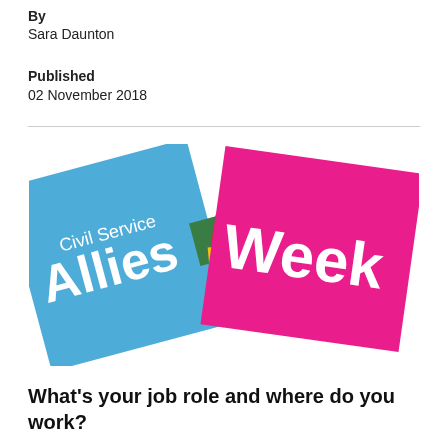By
Sara Daunton
Published
02 November 2018
[Figure (logo): Civil Service Allies Week logo — two overlapping tilted squares (blue and pink/magenta) with small coloured squares (green, red, yellow, dark) at the intersection. White text reads 'Civil Service' above large 'Allies Week' on the blue and pink squares.]
What's your job role and where do you work?